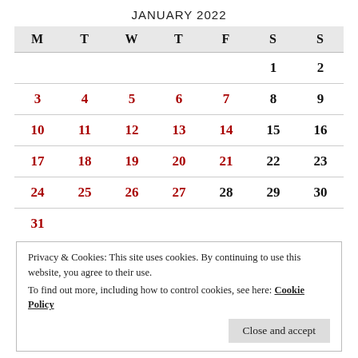JANUARY 2022
| M | T | W | T | F | S | S |
| --- | --- | --- | --- | --- | --- | --- |
|  |  |  |  |  | 1 | 2 |
| 3 | 4 | 5 | 6 | 7 | 8 | 9 |
| 10 | 11 | 12 | 13 | 14 | 15 | 16 |
| 17 | 18 | 19 | 20 | 21 | 22 | 23 |
| 24 | 25 | 26 | 27 | 28 | 29 | 30 |
| 31 |  |  |  |  |  |  |
Privacy & Cookies: This site uses cookies. By continuing to use this website, you agree to their use.
To find out more, including how to control cookies, see here: Cookie Policy
Close and accept